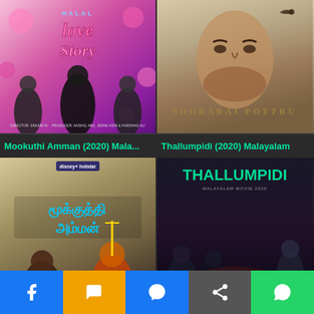[Figure (photo): Movie poster for Halal Love Story (2020) Malayalam film showing cast members with pink floral background]
[Figure (photo): Movie poster for Soorarai Pottru showing a close-up of actor's face with a bird, sepia toned]
Mookuthi Amman (2020) Mala...
Thallumpidi (2020) Malayalam
[Figure (photo): Movie poster for Mookuthi Amman showing Tamil text and characters including a deity figure]
[Figure (photo): Movie poster for Thallumpidi showing young men in dark moody setting with green title text]